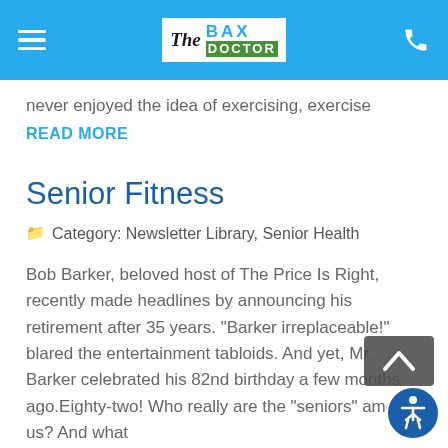[Figure (logo): Bax Doctor logo on blue header bar with hamburger menu and phone icon]
never enjoyed the idea of exercising, exercise
READ MORE
Senior Fitness
Category: Newsletter Library, Senior Health
Bob Barker, beloved host of The Price Is Right, recently made headlines by announcing his retirement after 35 years. "Barker irreplaceable!" blared the entertainment tabloids. And yet, Mr. Barker celebrated his 82nd birthday a few months ago.Eighty-two! Who really are the "seniors" among us? And what
READ MORE